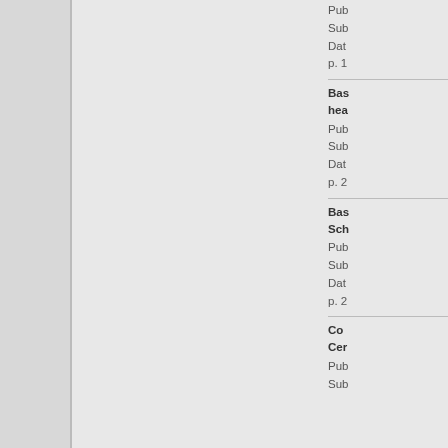Pub
Sub
Dat
p. 1
Bas
hea
Pub
Sub
Dat
p. 2
Bas
Sch
Pub
Sub
Dat
p. 2
Co
Cer
Pub
Sub